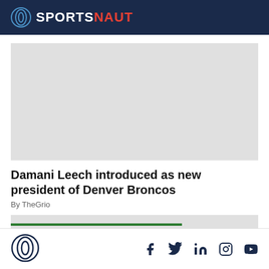SPORTSNAUT
[Figure (photo): Large image placeholder (light gray rectangle)]
Damani Leech introduced as new president of Denver Broncos
By TheGrio
[Figure (photo): Second image placeholder (light gray rectangle)]
Sportsnaut logo and social media icons: Facebook, Twitter, LinkedIn, Instagram, YouTube